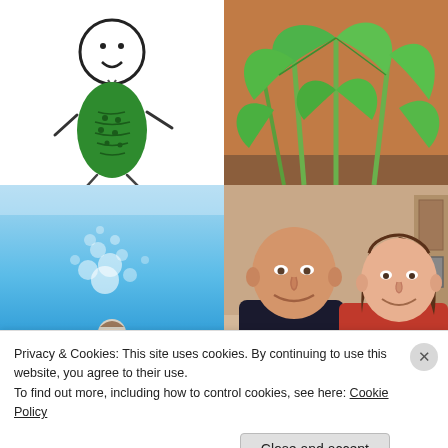[Figure (illustration): Child's drawing of a stick figure person with a round white head, simple face, and green oval body (resembling a pickle or cucumber) with arms and legs extending outward]
[Figure (photo): Close-up photo of large green heart-shaped leaves of a plant, with terracotta pot visible at the bottom]
[Figure (photo): Underwater photo showing blue water with bubbles rising, and a person visible at the bottom]
[Figure (photo): Photo of two people smiling: an older bald man in a dark shirt and a younger woman with brown hair in a red top, indoors]
Privacy & Cookies: This site uses cookies. By continuing to use this website, you agree to their use.
To find out more, including how to control cookies, see here: Cookie Policy
Close and accept